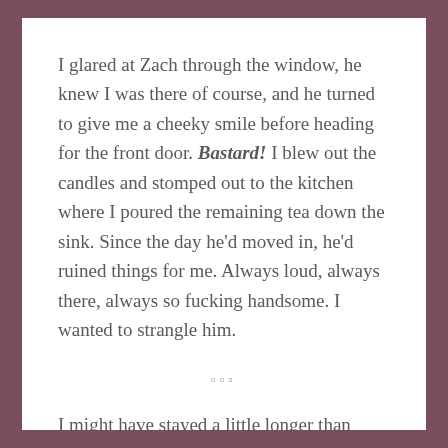I glared at Zach through the window, he knew I was there of course, and he turned to give me a cheeky smile before heading for the front door. Bastard! I blew out the candles and stomped out to the kitchen where I poured the remaining tea down the sink. Since the day he'd moved in, he'd ruined things for me. Always loud, always there, always so fucking handsome. I wanted to strangle him.
❑❑❑
I might have stayed a little longer than usual in bed the following morning, and I might have taken a little longer to eat my breakfast, but no matter how much I delayed it, I had to go to